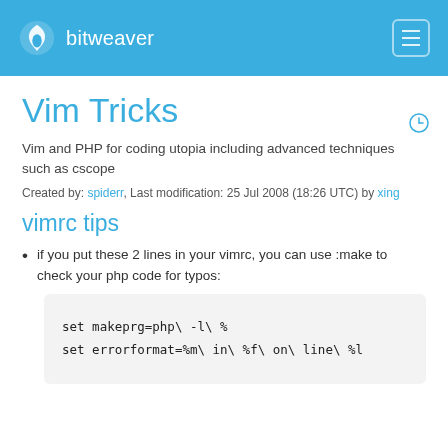bitweaver
Vim Tricks
Vim and PHP for coding utopia including advanced techniques such as cscope
Created by: spiderr, Last modification: 25 Jul 2008 (18:26 UTC) by xing
vimrc tips
if you put these 2 lines in your vimrc, you can use :make to check your php code for typos:
set makeprg=php\ -l\ %
set errorformat=%m\ in\ %f\ on\ line\ %l